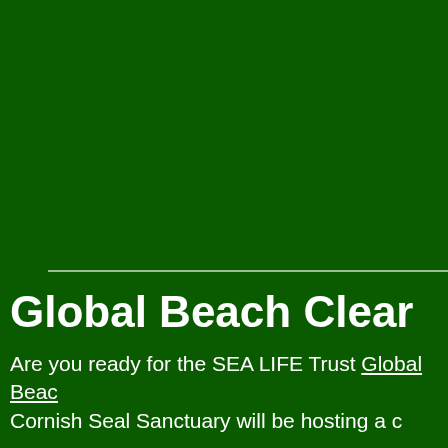[Figure (photo): Large dark green background area occupying the upper portion of the page]
Global Beach Clear
Are you ready for the SEA LIFE Trust Global Beac... Cornish Seal Sanctuary will be hosting a c...
If you´d like to host your own event instead, however... team or beach...